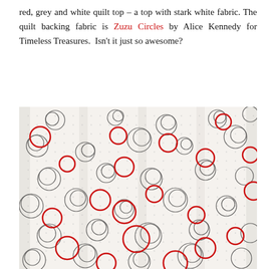red, grey and white quilt top – a top with stark white fabric. The quilt backing fabric is Zuzu Circles by Alice Kennedy for Timeless Treasures.  Isn't it just so awesome?
[Figure (photo): A close-up photo of the Zuzu Circles fabric by Alice Kennedy for Timeless Treasures. The fabric is white with scattered circles of varying sizes — some drawn in thin black sketchy lines (overlapping spirals), some outlined in bold red. The background has a subtle small grey dot pattern. The fabric is slightly gathered/draped showing vertical folds.]